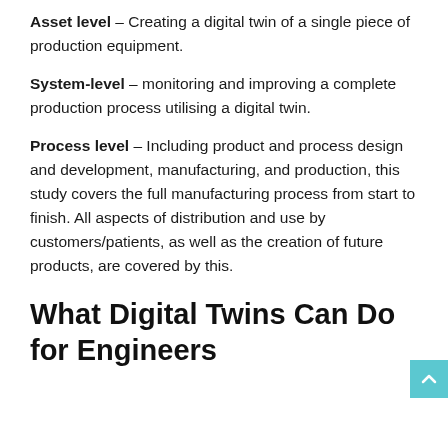Asset level – Creating a digital twin of a single piece of production equipment.
System-level – monitoring and improving a complete production process utilising a digital twin.
Process level – Including product and process design and development, manufacturing, and production, this study covers the full manufacturing process from start to finish. All aspects of distribution and use by customers/patients, as well as the creation of future products, are covered by this.
What Digital Twins Can Do for Engineers and Manufacturers?